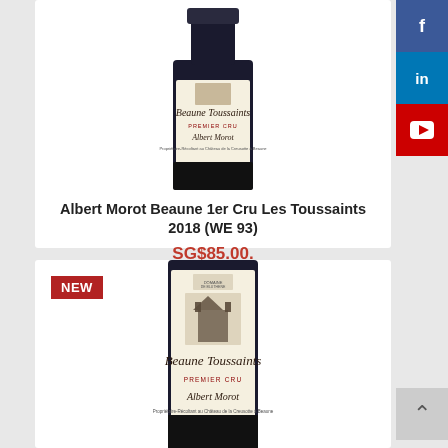[Figure (photo): Wine bottle label showing Beaune Toussaints Premier Cru by Albert Morot, top portion of bottle, dark glass with cream label]
Albert Morot Beaune 1er Cru Les Toussaints 2018 (WE 93)
SG$85.00.
[Figure (photo): Wine bottle label showing Beaune Toussaints Premier Cru by Albert Morot, with NEW badge, full bottle view]
[Figure (logo): Facebook social share button]
[Figure (logo): LinkedIn social share button]
[Figure (logo): YouTube social share button]